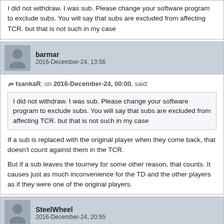I did not withdraw. I was sub. Please change your software program to exclude subs. You will say that subs are excluded from affecting TCR. but that is not such in my case
barmar
2016-December-24, 13:56
tsankaR, on 2016-December-24, 00:00, said:
I did not withdraw. I was sub. Please change your software program to exclude subs. You will say that subs are excluded from affecting TCR. but that is not such in my case
If a sub is replaced with the original player when they come back, that doesn't count against them in the TCR.
But if a sub leaves the tourney for some other reason, that counts. It causes just as much inconvenience for the TD and the other players as if they were one of the original players.
SteelWheel
2016-December-24, 20:55